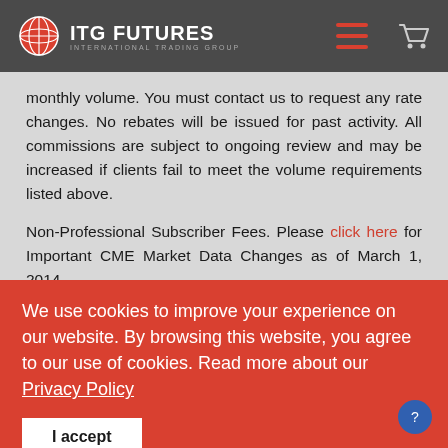ITG FUTURES — INTERNATIONAL TRADING GROUP
monthly volume. You must contact us to request any rate changes. No rebates will be issued for past activity. All commissions are subject to ongoing review and may be increased if clients fail to meet the volume requirements listed above.
Non-Professional Subscriber Fees. Please click here for Important CME Market Data Changes as of March 1, 2014.
We use cookies to improve your experience on our website. By browsing this website, you agree to our use of cookies. Read more about our Privacy Policy
I accept